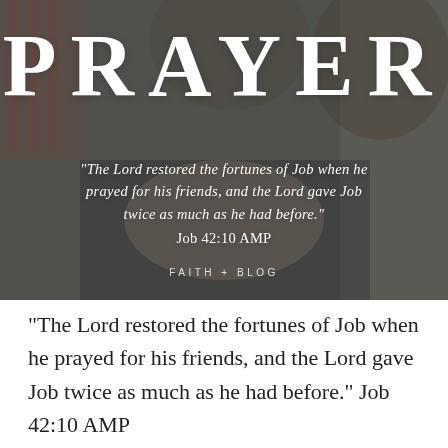[Figure (photo): Photo of people praying together, with hands joined, with dark overlay. Large text 'PRAYER' overlaid at top, a Bible quote in italic serif white text in the middle, and 'FAITH + BLOG' label near the bottom.]
“The Lord restored the fortunes of Job when he prayed for his friends, and the Lord gave Job twice as much as he had before.” Job 42:10 AMP